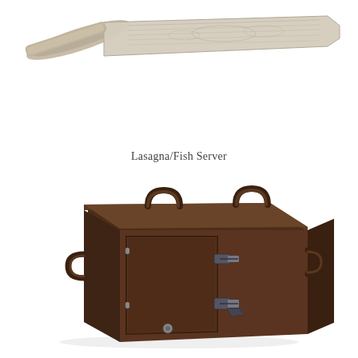[Figure (photo): A lasagna/fish server utensil — a wide flat spatula-like serving tool with an ornate decorative engraved blade and a metal handle, photographed on a white background.]
Lasagna/Fish Server
[Figure (photo): A dark brown insulated food carrier / heated transport box with two black carrying handles on top, a front-loading door with metal latch/lock hardware, and side handles. The unit is a commercial food pan carrier, photographed on a white background.]